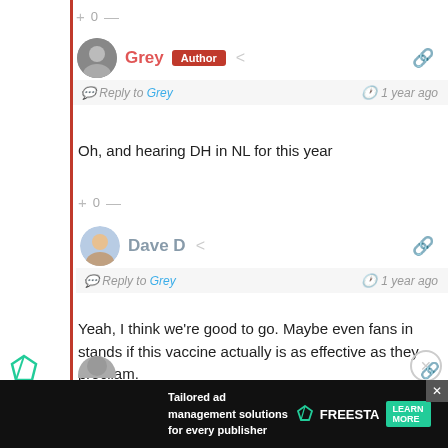+ 0 —
Grey Author
Reply to Grey  1 year ago
Oh, and hearing DH in NL for this year
+ 0 —
Dave D
Reply to Grey  1 year ago
Yeah, I think we're good to go. Maybe even fans in stands if this vaccine actually is as effective as they procliam.
+ 0 —
Tailored ad management solutions for every publisher
FREESTA  LEARN MORE